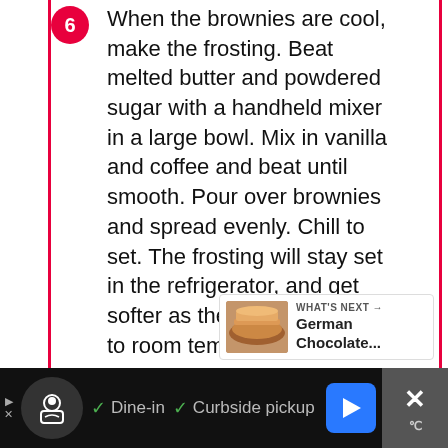6. When the brownies are cool, make the frosting. Beat melted butter and powdered sugar with a handheld mixer in a large bowl. Mix in vanilla and coffee and beat until smooth. Pour over brownies and spread evenly. Chill to set. The frosting will stay set in the refrigerator, and get softer as the brownies come to room temperature.
7. Makes 24 brownies.
[Figure (infographic): Social sidebar with heart/like button showing 3.4K likes and a share button]
[Figure (infographic): What's Next card with food thumbnail and text 'German Chocolate...']
[Figure (infographic): Bottom ad bar with restaurant icon, checkmarks for Dine-in and Curbside pickup, navigation arrow button, and close X button]